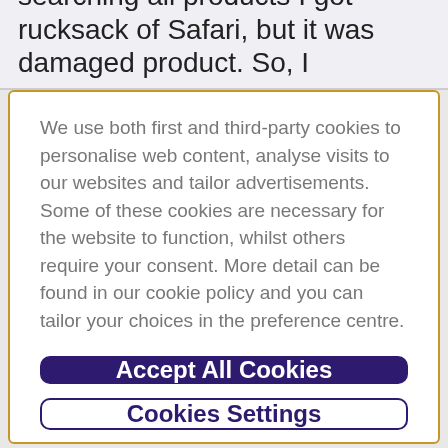searching all products I got rucksack of Safari, but it was damaged product. So, I
We use both first and third-party cookies to personalise web content, analyse visits to our websites and tailor advertisements. Some of these cookies are necessary for the website to function, whilst others require your consent. More detail can be found in our cookie policy and you can tailor your choices in the preference centre.
Accept All Cookies
Cookies Settings